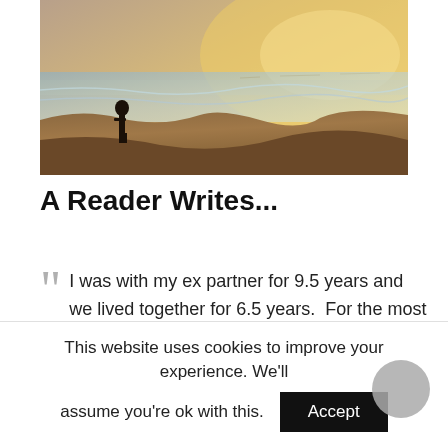[Figure (photo): Person standing on rocky coastline at sunset, silhouetted against golden light with ocean waves and warm sky]
A Reader Writes...
I was with my ex partner for 9.5 years and we lived together for 6.5 years.  For the most part we had a really good relationship but we separated 16 months ago. I had left a job in
This website uses cookies to improve your experience. We'll assume you're ok with this.
Accept